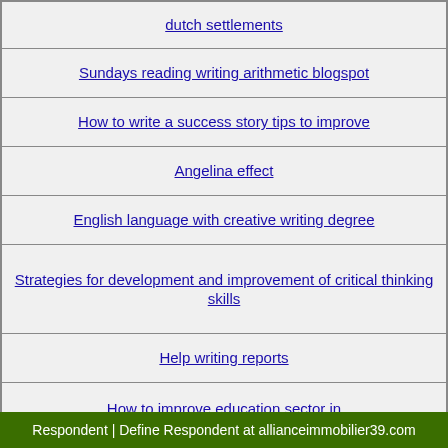dutch settlements
Sundays reading writing arithmetic blogspot
How to write a success story tips to improve
Angelina effect
English language with creative writing degree
Strategies for development and improvement of critical thinking skills
Help writing reports
How to improve education sector in
Write action runas
Respondent | Define Respondent at allianceimmobilier39.com